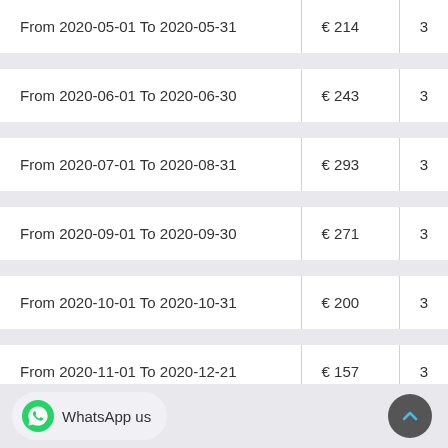| Period | Amount |  |
| --- | --- | --- |
| From 2020-05-01 To 2020-05-31 | € 214 | 3 |
| From 2020-06-01 To 2020-06-30 | € 243 | 3 |
| From 2020-07-01 To 2020-08-31 | € 293 | 3 |
| From 2020-09-01 To 2020-09-30 | € 271 | 3 |
| From 2020-10-01 To 2020-10-31 | € 200 | 3 |
| From 2020-11-01 To 2020-12-21 | € 157 | 3 |
| From 2020-12-22 To 2020-12-31 | € 200 | 3 |
WhatsApp us